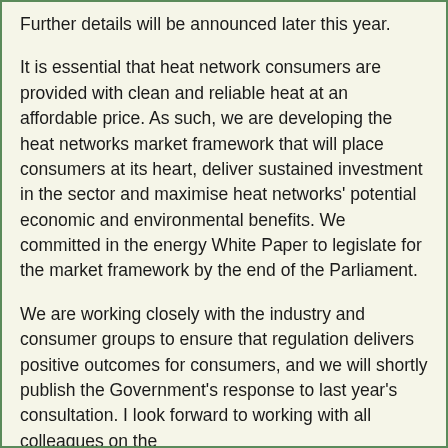Further details will be announced later this year.
It is essential that heat network consumers are provided with clean and reliable heat at an affordable price. As such, we are developing the heat networks market framework that will place consumers at its heart, deliver sustained investment in the sector and maximise heat networks' potential economic and environmental benefits. We committed in the energy White Paper to legislate for the market framework by the end of the Parliament.
We are working closely with the industry and consumer groups to ensure that regulation delivers positive outcomes for consumers, and we will shortly publish the Government's response to last year's consultation. I look forward to working with all colleagues on the